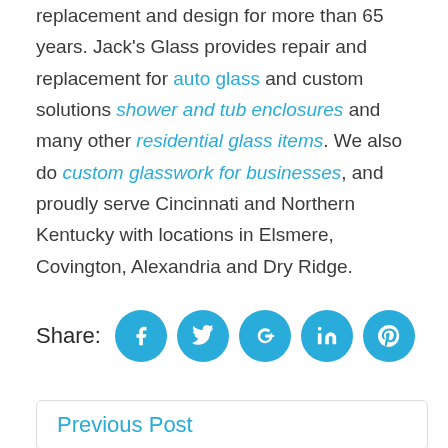replacement and design for more than 65 years. Jack's Glass provides repair and replacement for auto glass and custom solutions shower and tub enclosures and many other residential glass items. We also do custom glasswork for businesses, and proudly serve Cincinnati and Northern Kentucky with locations in Elsmere, Covington, Alexandria and Dry Ridge.
Share:
[Figure (infographic): Social share buttons: Facebook, Twitter, Google+, LinkedIn, Pinterest — all in blue circles with white icons]
Previous Post